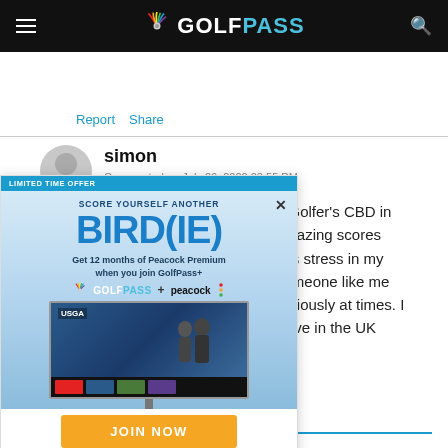GOLFPASS
Report   Share
simon
Commented on July 26, 2020 03:55 PM
[Figure (screenshot): GolfPass advertisement overlay: LIMITED TIME OFFER - SCORE YOURSELF ANOTHER BIRD(IE) - Get 12 months of Peacock Premium when you join GolfPass+ - with JOIN NOW button]
g Golfer's CBD in
amazing scores
ess stress in my
someone like me
seriously at times. I
ssive in the UK